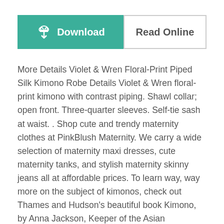[Figure (other): Two buttons side by side: a teal 'Download' button with cloud/download icon on the left, and a white 'Read Online' button on the right]
More Details Violet & Wren Floral-Print Piped Silk Kimono Robe Details Violet & Wren floral-print kimono with contrast piping. Shawl collar; open front. Three-quarter sleeves. Self-tie sash at waist. . Shop cute and trendy maternity clothes at PinkBlush Maternity. We carry a wide selection of maternity maxi dresses, cute maternity tanks, and stylish maternity skinny jeans all at affordable prices. To learn way, way more on the subject of kimonos, check out Thames and Hudson's beautiful book Kimono, by Anna Jackson, Keeper of the Asian department at London's Victoria & Albert Museum and . Both male and female kimonos may be made from omeshi kimono fabric. Omeshi kimonos are typically of a